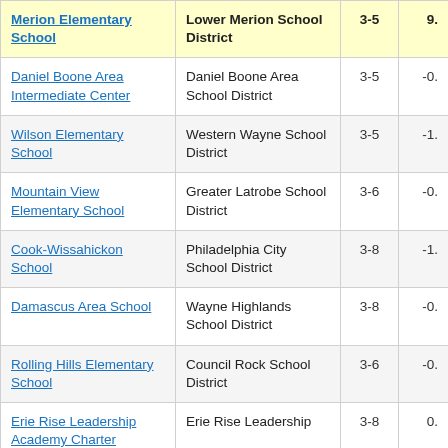| School | District | Grades | Value |
| --- | --- | --- | --- |
| Merion Elementary School | Lower Merion School District | 3-5 | 9. |
| Daniel Boone Area Intermediate Center | Daniel Boone Area School District | 3-5 | -0. |
| Wilson Elementary School | Western Wayne School District | 3-5 | -1. |
| Mountain View Elementary School | Greater Latrobe School District | 3-6 | -0. |
| Cook-Wissahickon School | Philadelphia City School District | 3-8 | -1. |
| Damascus Area School | Wayne Highlands School District | 3-8 | -0. |
| Rolling Hills Elementary School | Council Rock School District | 3-6 | -0. |
| Erie Rise Leadership Academy Charter | Erie Rise Leadership | 3-8 | 0. |